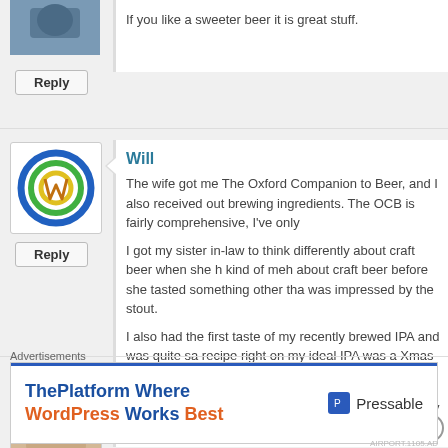If you like a sweeter beer it is great stuff.
Reply
Will
The wife got me The Oxford Companion to Beer, and I also received out brewing ingredients. The OCB is fairly comprehensive, I've only
I got my sister in-law to think differently about craft beer when she h kind of meh about craft beer before she tasted something other tha was impressed by the stout.
I also had the first taste of my recently brewed IPA and was quite sa recipe right on my ideal IPA was a Xmas gift to myself!
Reply
[Figure (illustration): Colorful circular logo with blue, green, and yellow swirling design]
Zac
Will, you may want to check out the OCB Commentary Wiki as Apparently, it's loaded with errors.
[Figure (photo): Avatar photo of a woman with light hair]
Advertisements
ThePlatform Where WordPress Works Best    Pressable